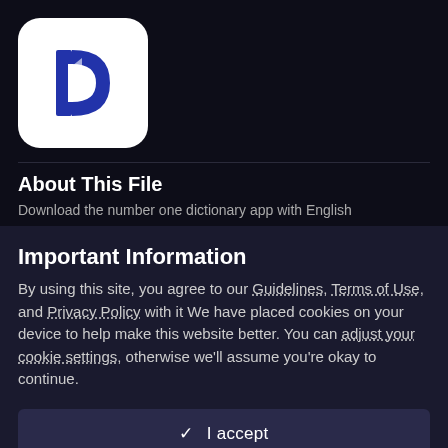[Figure (logo): Dictionary.com app icon — white rounded square with blue stylized D letter logo]
About This File
Download the number one dictionary app with English
Important Information
By using this site, you agree to our Guidelines, Terms of Use, and Privacy Policy with it We have placed cookies on your device to help make this website better. You can adjust your cookie settings, otherwise we'll assume you're okay to continue.
✓  I accept